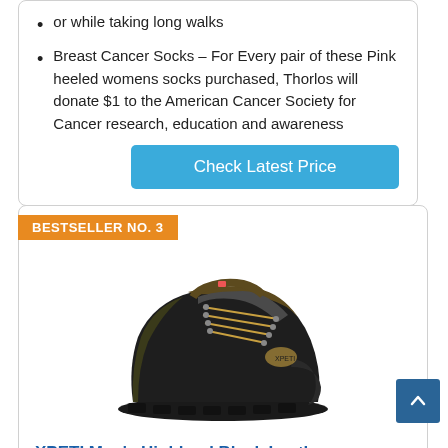or while taking long walks
Breast Cancer Socks – For Every pair of these Pink heeled womens socks purchased, Thorlos will donate $1 to the American Cancer Society for Cancer research, education and awareness
Check Latest Price
BESTSELLER NO. 3
[Figure (photo): XPETI Men's Highland Black Leather hiking boot shown from the side, dark brown and black colorway with laces and rugged sole]
XPETI Men's Highland Black Leather